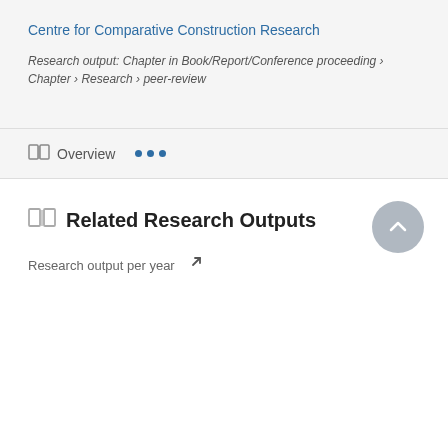Centre for Comparative Construction Research
Research output: Chapter in Book/Report/Conference proceeding › Chapter › Research › peer-review
Overview
Related Research Outputs
Research output per year